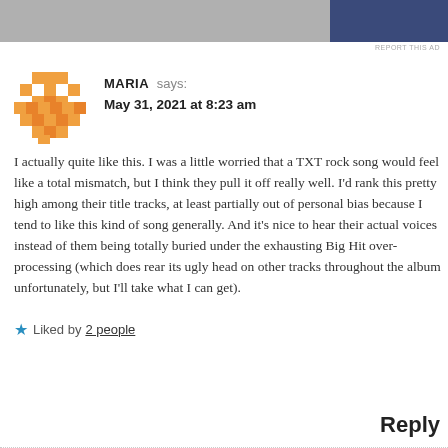[Figure (photo): Partial ad banner image at top of page with a photo on the left and a dark blue rectangle on the right]
REPORT THIS AD
[Figure (illustration): Orange geometric mosaic/avatar icon for user MARIA]
MARIA says:
May 31, 2021 at 8:23 am
I actually quite like this. I was a little worried that a TXT rock song would feel like a total mismatch, but I think they pull it off really well. I'd rank this pretty high among their title tracks, at least partially out of personal bias because I tend to like this kind of song generally. And it's nice to hear their actual voices instead of them being totally buried under the exhausting Big Hit over-processing (which does rear its ugly head on other tracks throughout the album unfortunately, but I'll take what I can get).
Liked by 2 people
Reply